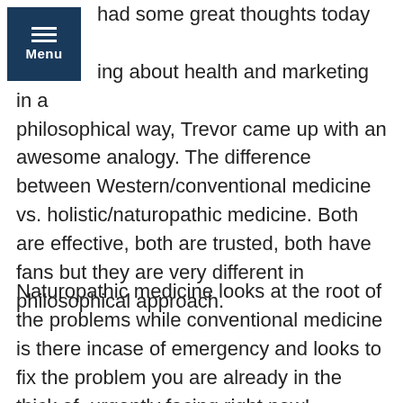[Figure (screenshot): Navigation menu button with dark navy background and white 'Menu' label]
had some great thoughts today when ing about health and marketing in a philosophical way, Trevor came up with an awesome analogy. The difference between Western/conventional medicine vs. holistic/naturopathic medicine. Both are effective, both are trusted, both have fans but they are very different in philosophical approach.
Naturopathic medicine looks at the root of the problems while conventional medicine is there incase of emergency and looks to fix the problem you are already in the thick of, urgently facing right now!